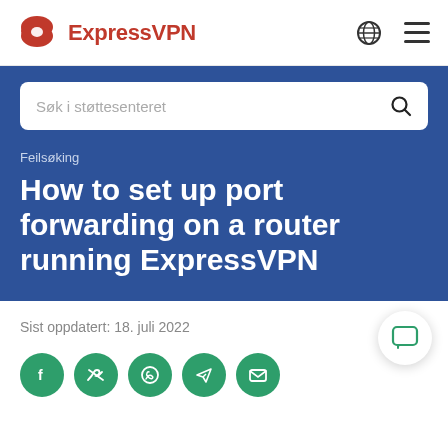ExpressVPN
Søk i støttesenteret
Feilsøking
How to set up port forwarding on a router running ExpressVPN
Sist oppdatert: 18. juli 2022